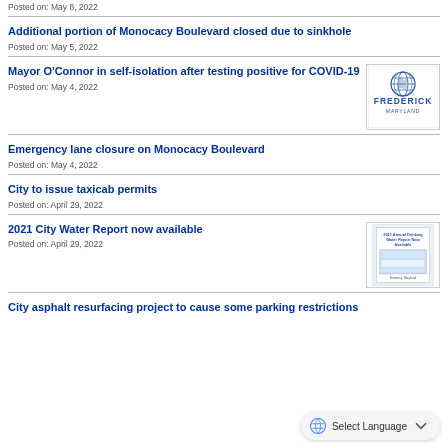Posted on: May 8, 2022
Additional portion of Monocacy Boulevard closed due to sinkhole
Posted on: May 5, 2022
Mayor O'Connor in self-isolation after testing positive for COVID-19
Posted on: May 4, 2022
[Figure (logo): Frederick Maryland city logo — globe icon above the word FREDERICK and MARYLAND]
Emergency lane closure on Monocacy Boulevard
Posted on: May 4, 2022
City to issue taxicab permits
Posted on: April 29, 2022
2021 City Water Report now available
Posted on: April 29, 2022
[Figure (photo): 2021 Annual Drinking Water Report cover image]
City asphalt resurfacing project to cause some parking restrictions